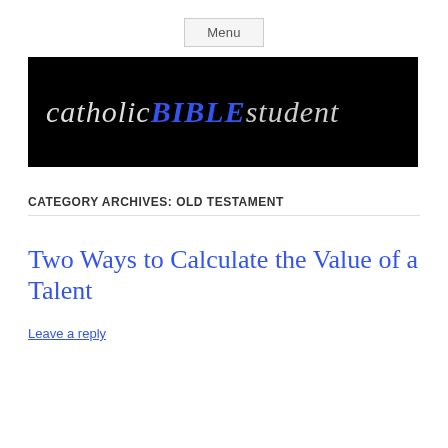Menu
[Figure (logo): Catholic Bible Student logo – black background with stylized text: 'catholic' in light gray italic, 'BIBLE' in bold blue italic uppercase, 'student' in light gray italic, all in a medieval/uncial style font.]
CATEGORY ARCHIVES: OLD TESTAMENT
Two Ways to Calculate the Value of a Talent
Leave a reply